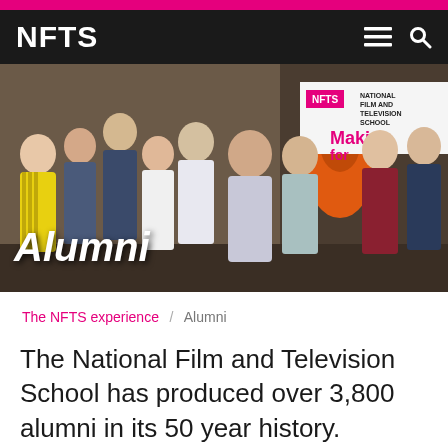NFTS
[Figure (photo): Group photo of NFTS students and staff standing together in a room with an orange prop/sculpture. A banner reading NFTS National Film and Television School is visible in the background. The word 'Alumni' is overlaid in white italic text at the bottom left.]
The NFTS experience / Alumni
The National Film and Television School has produced over 3,800 alumni in its 50 year history. Students from MA and Diploma courses qualify for alumni status and form an